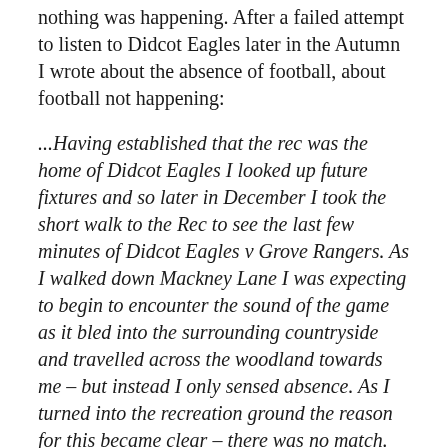nothing was happening. After a failed attempt to listen to Didcot Eagles later in the Autumn I wrote about the absence of football, about football not happening:
...Having established that the rec was the home of Didcot Eagles I looked up future fixtures and so later in December I took the short walk to the Rec to see the last few minutes of Didcot Eagles v Grove Rangers. As I walked down Mackney Lane I was expecting to begin to encounter the sound of the game as it bled into the surrounding countryside and travelled across the woodland towards me – but instead I only sensed absence. As I turned into the recreation ground the reason for this became clear – there was no match. The Recreation